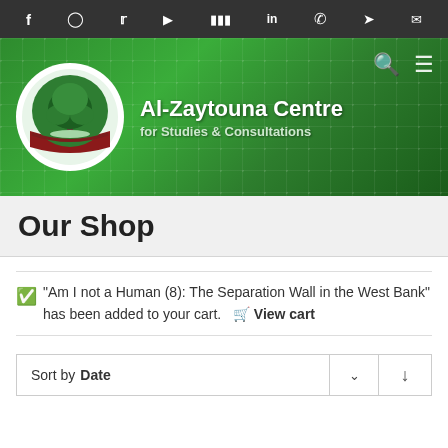Social media icons bar: Facebook, Instagram, Twitter, YouTube, SoundCloud, LinkedIn, WhatsApp, Telegram, Email
[Figure (logo): Al-Zaytouna Centre for Studies & Consultations website header banner with green background, grid pattern, logo circle with tree, organization name, search and menu icons]
Our Shop
"Am I not a Human (8): The Separation Wall in the West Bank" has been added to your cart. View cart
Sort by Date